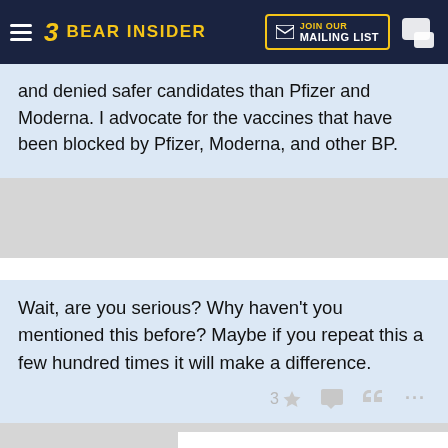BEAR INSIDER — JOIN OUR MAILING LIST
and denied safer candidates than Pfizer and Moderna. I advocate for the vaccines that have been blocked by Pfizer, Moderna, and other BP.
Wait, are you serious? Why haven't you mentioned this before? Maybe if you repeat this a few hundred times it will make a difference.
3 ★  ↩  ❝  …